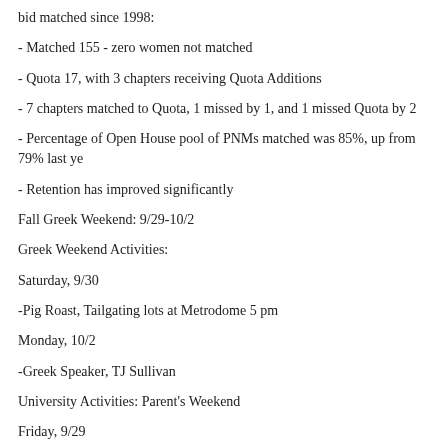bid matched since 1998:
- Matched 155 - zero women not matched
- Quota 17, with 3 chapters receiving Quota Additions
- 7 chapters matched to Quota, 1 missed by 1, and 1 missed Quota by 2
- Percentage of Open House pool of PNMs matched was 85%, up from 79% last ye
- Retention has improved significantly
Fall Greek Weekend: 9/29-10/2
Greek Weekend Activities:
Saturday, 9/30
-Pig Roast, Tailgating lots at Metrodome 5 pm
Monday, 10/2
-Greek Speaker, TJ Sullivan
University Activities: Parent's Weekend
Friday, 9/29
-Scholars Walk dedication, McNamara Alumni Center 11 am – 2 pm